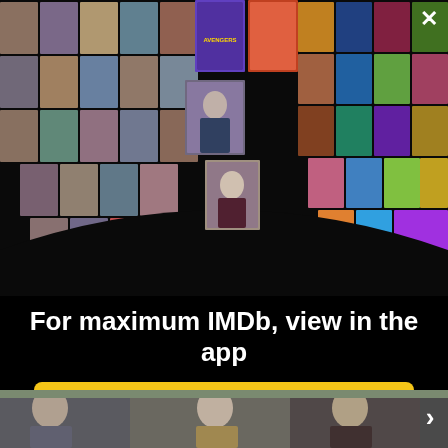[Figure (photo): IMDb app promotional banner showing a collage of actor headshots and movie/TV posters arranged in a fan/perspective layout on a black background]
For maximum IMDb, view in the app
[Figure (screenshot): Yellow 'Get the app' call-to-action button]
[Figure (photo): Movie still showing three men sitting outdoors, partial view, with a right-arrow navigation indicator]